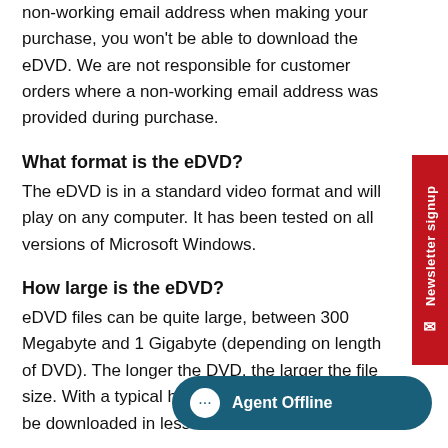non-working email address when making your purchase, you won't be able to download the eDVD. We are not responsible for customer orders where a non-working email address was provided during purchase.
What format is the eDVD?
The eDVD is in a standard video format and will play on any computer. It has been tested on all versions of Microsoft Windows.
How large is the eDVD?
eDVD files can be quite large, between 300 Megabyte and 1 Gigabyte (depending on length of DVD). The longer the DVD, the larger the file size. With a typical high-speed internet connection it can be downloaded in less than 5 minutes.